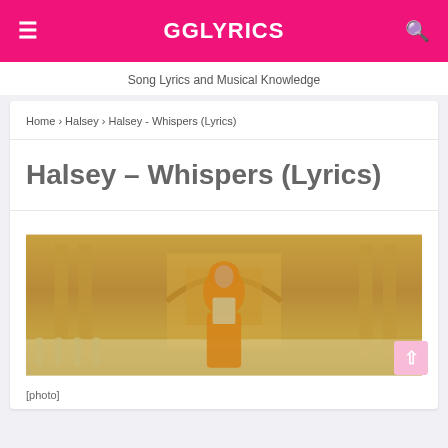GGLYRICS
Song Lyrics and Musical Knowledge
Home › Halsey › Halsey - Whispers (Lyrics)
Halsey – Whispers (Lyrics)
[Figure (photo): A person wearing an orange/gold draped sari-style garment with an embellished top, standing in a classical architectural hall with arches and columns in the background.]
[photo]